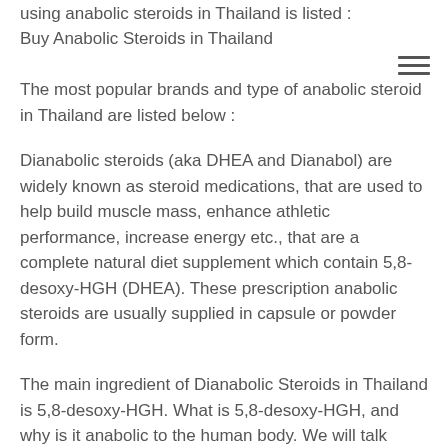using anabolic steroids in Thailand is listed : Buy Anabolic Steroids in Thailand
The most popular brands and type of anabolic steroid in Thailand are listed below :
Dianabolic steroids (aka DHEA and Dianabol) are widely known as steroid medications, that are used to help build muscle mass, enhance athletic performance, increase energy etc., that are a complete natural diet supplement which contain 5,8-desoxy-HGH (DHEA). These prescription anabolic steroids are usually supplied in capsule or powder form.
The main ingredient of Dianabolic Steroids in Thailand is 5,8-desoxy-HGH. What is 5,8-desoxy-HGH, and why is it anabolic to the human body. We will talk about 5,8-desoxy-HGH in detail in this article.